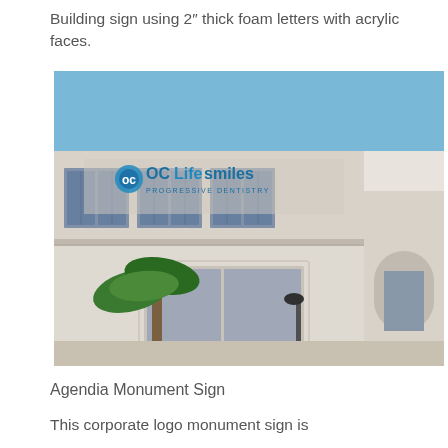Building sign using 2" thick foam letters with acrylic faces.
[Figure (photo): Photograph of a building exterior showing the OC Life Smiles Progressive Dentistry sign mounted on a white stucco building facade, with a palm tree in front and blue sky in the background.]
Agendia Monument Sign
This corporate logo monument sign is constructed with 1/2" thick aluminum panels